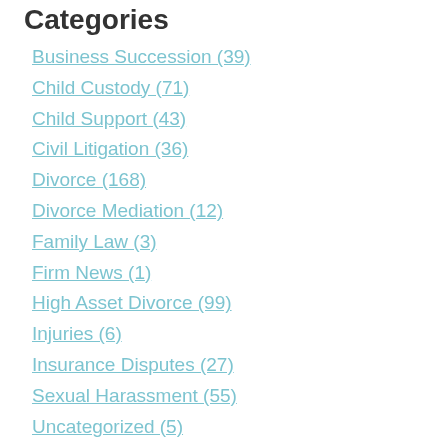Categories
Business Succession (39)
Child Custody (71)
Child Support (43)
Civil Litigation (36)
Divorce (168)
Divorce Mediation (12)
Family Law (3)
Firm News (1)
High Asset Divorce (99)
Injuries (6)
Insurance Disputes (27)
Sexual Harassment (55)
Uncategorized (5)
Archives
August 2022 (4)